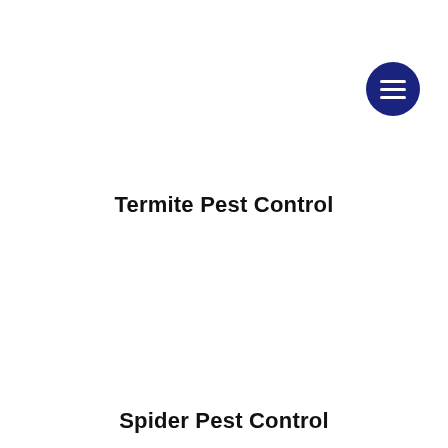[Figure (other): Dark navy blue circular menu button icon with three horizontal white lines (hamburger menu icon) positioned in the upper right area of the page]
Termite Pest Control
Spider Pest Control